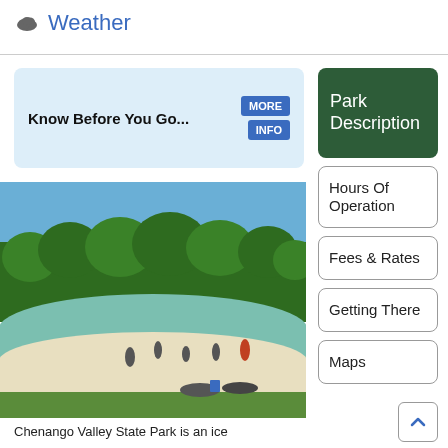Weather
Know Before You Go...
[Figure (photo): Outdoor beach scene at Chenango Valley State Park showing people swimming and relaxing on a sandy beach with green trees in the background under a blue sky.]
Chenango Valley State Park is an ice
Park Description
Hours Of Operation
Fees & Rates
Getting There
Maps